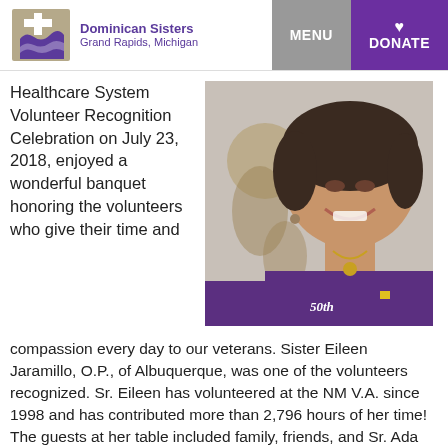Dominican Sisters Grand Rapids, Michigan | MENU | DONATE
Healthcare System Volunteer Recognition Celebration on July 23, 2018, enjoyed a wonderful banquet honoring the volunteers who give their time and compassion every day to our veterans. Sister Eileen Jaramillo, O.P., of Albuquerque, was one of the volunteers recognized. Sr. Eileen has volunteered at the NM V.A. since 1998 and has contributed more than 2,796 hours of her time! The guests at her table included family, friends, and Sr. Ada Medina-Dominguez, O.P., M.A.
[Figure (photo): Portrait photo of Sister Eileen Jaramillo smiling, wearing a purple jacket with a '50th' badge and a gold necklace pendant]